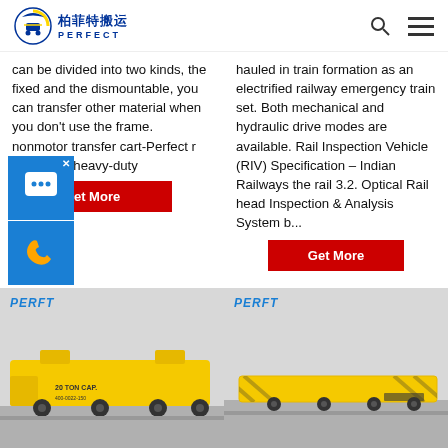柏菲特搬运 PERFECT
can be divided into two kinds, the fixed and the dismountable, you can transfer other material when you don't use the frame. nonmotor transfer cart-Perfect r Carts The heavy-duty
hauled in train formation as an electrified railway emergency train set. Both mechanical and hydraulic drive modes are available. Rail Inspection Vehicle (RIV) Specification – Indian Railways the rail 3.2. Optical Rail head Inspection & Analysis System b...
[Figure (photo): Yellow 20 TON CAP heavy-duty transfer cart with PERFT branding in a warehouse setting]
[Figure (photo): Yellow flatbed rail transfer cart with PERFT branding in a warehouse setting]